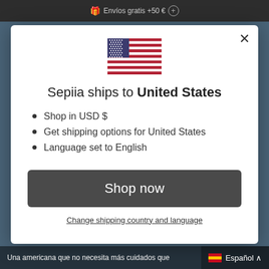Envíos gratis +50 €
[Figure (illustration): US flag SVG illustration centered in modal]
Sepiia ships to United States
Shop in USD $
Get shipping options for United States
Language set to English
Shop now
Change shipping country and language
Una americana que no necesita más cuidados que... Español